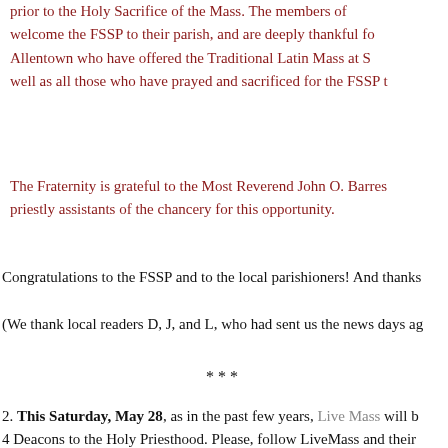prior to the Holy Sacrifice of the Mass. The members of welcome the FSSP to their parish, and are deeply thankful fo Allentown who have offered the Traditional Latin Mass at S well as all those who have prayed and sacrificed for the FSSP t
The Fraternity is grateful to the Most Reverend John O. Barres priestly assistants of the chancery for this opportunity.
Congratulations to the FSSP and to the local parishioners! And thanks
(We thank local readers D, J, and L, who had sent us the news days ag
***
2. This Saturday, May 28, as in the past few years, Live Mass will b 4 Deacons to the Holy Priesthood. Please, follow LiveMass and their